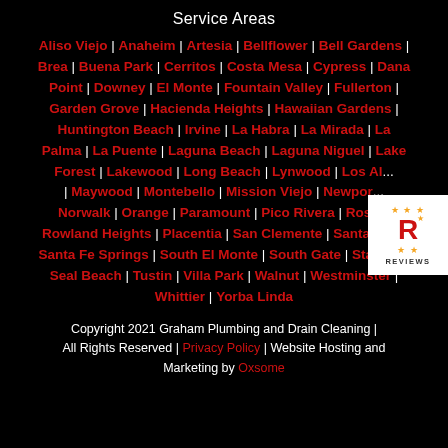Service Areas
Aliso Viejo | Anaheim | Artesia | Bellflower | Bell Gardens | Brea | Buena Park | Cerritos | Costa Mesa | Cypress | Dana Point | Downey | El Monte | Fountain Valley | Fullerton | Garden Grove | Hacienda Heights | Hawaiian Gardens | Huntington Beach | Irvine | La Habra | La Mirada | La Palma | La Puente | Laguna Beach | Laguna Niguel | Lake Forest | Lakewood | Long Beach | Lynwood | Los Al... | Maywood | Montebello | Mission Viejo | Newport... | Norwalk | Orange | Paramount | Pico Rivera | Rose... | Rowland Heights | Placentia | San Clemente | Santa Ana | Santa Fe Springs | South El Monte | South Gate | Stanton | Seal Beach | Tustin | Villa Park | Walnut | Westminster | Whittier | Yorba Linda
[Figure (logo): Reviews badge with red R letter and gold stars]
Copyright 2021 Graham Plumbing and Drain Cleaning | All Rights Reserved | Privacy Policy | Website Hosting and Marketing by Oxsome